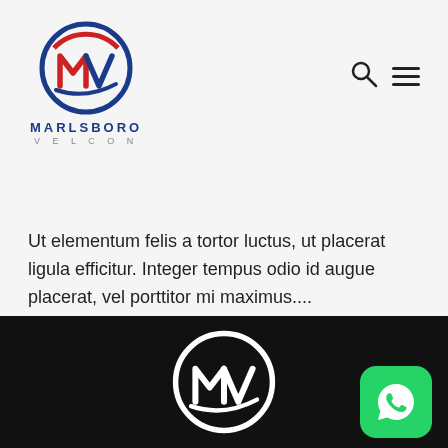[Figure (logo): Marlsboro Velcon logo — circular emblem with M and V letters in red and blue, company name MARLSBORO in bold blue letters, VELCON in grey spaced letters below]
Ut elementum felis a tortor luctus, ut placerat ligula efficitur. Integer tempus odio id augue placerat, vel porttitor mi maximus....
Read More
[Figure (logo): Marlsboro Velcon logo in white on dark/black background — circular emblem with M and V letters]
[Figure (other): WhatsApp green button icon in bottom right corner]